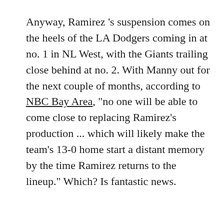Anyway, Ramirez 's suspension comes on the heels of the LA Dodgers coming in at no. 1 in NL West, with the Giants trailing close behind at no. 2. With Manny out for the next couple of months, according to NBC Bay Area, "no one will be able to come close to replacing Ramirez's production ... which will likely make the team's 13-0 home start a distant memory by the time Ramirez returns to the lineup." Which? Is fantastic news.